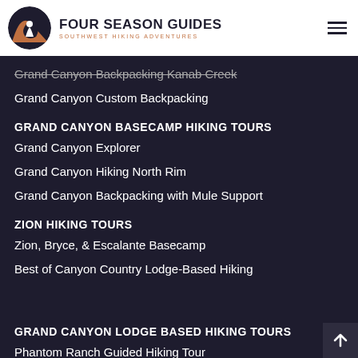FOUR SEASON GUIDES — SOUTHWEST HIKING ADVENTURES
Grand Canyon Backpacking Kanab Creek
Grand Canyon Custom Backpacking
GRAND CANYON BASECAMP HIKING TOURS
Grand Canyon Explorer
Grand Canyon Hiking North Rim
Grand Canyon Backpacking with Mule Support
ZION HIKING TOURS
Zion, Bryce, & Escalante Basecamp
Best of Canyon Country Lodge-Based Hiking
GRAND CANYON LODGE BASED HIKING TOURS
Phantom Ranch Guided Hiking Tour
Marble Canyon & Vermillion Cliffs